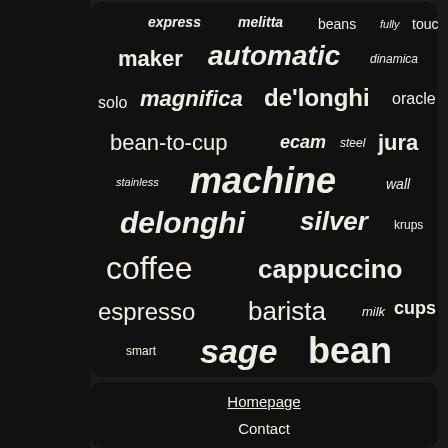[Figure (infographic): Word cloud on black background featuring coffee machine related terms: express, melitta, beans, fully, touch, maker, automatic, dinamica, solo, magnifica, de'longhi, oracle, bean-to-cup, ecam, steel, jura, stainless, machine, wall, delonghi, silver, krups, coffee, cappuccino, espresso, barista, milk, cups, smart, sage, bean]
Homepage
Contact